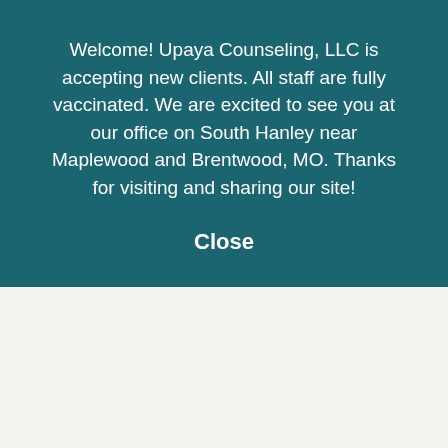Welcome! Upaya Counseling, LLC is accepting new clients. All staff are fully vaccinated. We are excited to see you at our office on South Hanley near Maplewood and Brentwood, MO. Thanks for visiting and sharing our site!
Close